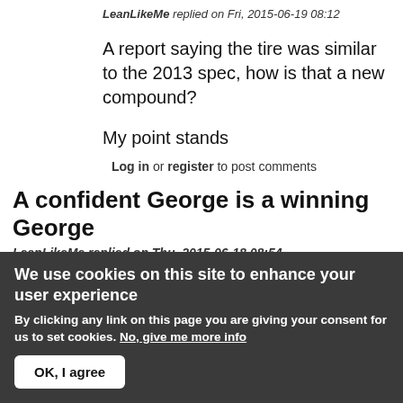LeanLikeMe replied on Fri, 2015-06-19 08:12
A report saying the tire was similar to the 2013 spec, how is that a new compound?
My point stands
Log in or register to post comments
A confident George is a winning George
LeanLikeMe replied on Thu, 2015-06-18 08:54
We shouldnt be surprised at the performance of the
We use cookies on this site to enhance your user experience
By clicking any link on this page you are giving your consent for us to set cookies. No, give me more info
OK, I agree